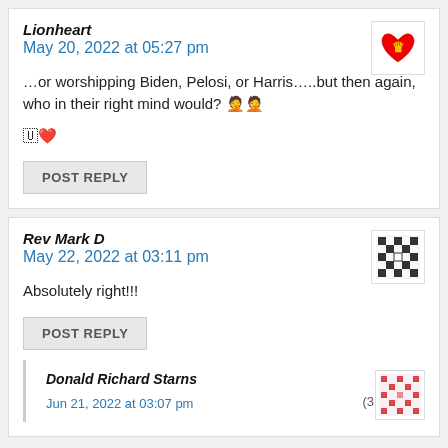Lionheart
May 20, 2022 at 05:27 pm
(1 vote)
…or worshipping Biden, Pelosi, or Harris…..but then again, who in their right mind would? 🤦🤦
🇺❤
POST REPLY
Rev Mark D
May 22, 2022 at 03:11 pm
(1 vote)
Absolutely right!!!
POST REPLY
Donald Richard Starns
Jun 21, 2022 at 03:07 pm
(3 votes)